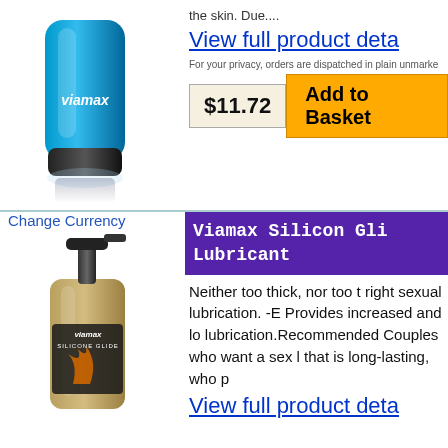[Figure (photo): Viamax blue tube product photo on white background with reflection]
the skin. Due....
View full product deta
For your privacy, orders are dispatched in plain unmarke
$11.72  Add to Basket
Change Currency
Viamax Silicon Gli Lubricant
[Figure (photo): Viamax Silicon Glide lubricant bottle with gold/tan label and black pump dispenser]
Neither too thick, nor too t right sexual lubrication. -E Provides increased and lo lubrication.Recommended Couples who want a sex l that is long-lasting, who p
View full product deta